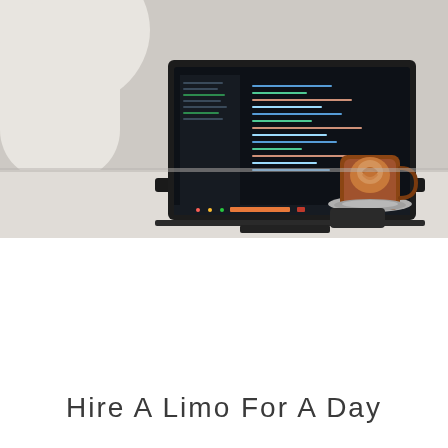[Figure (photo): A laptop with a dark code editor open on screen, a latte coffee cup on a saucer, and a mouse/phone on a white desk surface. A partial white rounded shape (lamp or furniture) is visible in the upper left corner.]
Hire A Limo For A Day